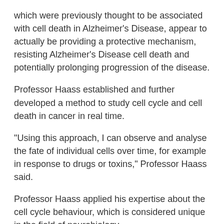which were previously thought to be associated with cell death in Alzheimer's Disease, appear to actually be providing a protective mechanism, resisting Alzheimer's Disease cell death and potentially prolonging progression of the disease.
Professor Haass established and further developed a method to study cell cycle and cell death in cancer in real time.
“Using this approach, I can observe and analyse the fate of individual cells over time, for example in response to drugs or toxins,” Professor Haass said.
Professor Haass applied his expertise about the cell cycle behaviour, which is considered unique in the field of neurobiology.
Crucial to the findings was the sharing of knowledge between Macquarie University’s Dementia Research Centre